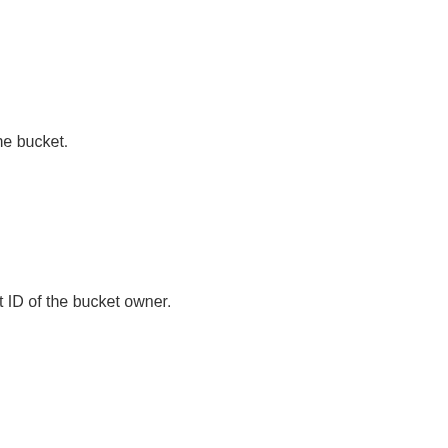the bucket.
nt ID of the bucket owner.
)
or the data.
on Web Services account that holds the Data Catalog that stores
ta Catalog.
he Data Catalog. This table corresponds to a DataBrew dataset.